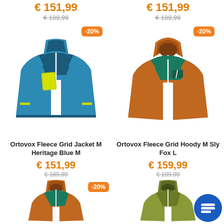€ 151,99 (sale price, top left)
€ 189,99 (original price, top left)
€ 151,99 (sale price, top right)
€ 189,99 (original price, top right)
[Figure (photo): Blue Ortovox Fleece Grid Jacket M Heritage Blue M with yellow pocket and -20% badge]
[Figure (photo): Orange/brown Ortovox Fleece Grid Hoody M Sly Fox L with green panel and -20% badge]
Ortovox Fleece Grid Jacket M Heritage Blue M
€ 151,99
€ 189,99
Ortovox Fleece Grid Hoody M Sly Fox L
€ 159,99
€ 199,99
[Figure (photo): Partial view of orange hoody with -20% badge, bottom left]
[Figure (photo): Partial view of olive/green hoody, bottom right]